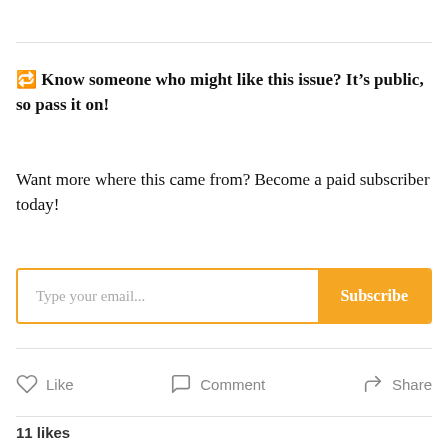🔁 Know someone who might like this issue? It's public, so pass it on!
Want more where this came from? Become a paid subscriber today!
[Figure (other): Email subscription box with 'Type your email...' placeholder and orange Subscribe button]
Like   Comment   Share
11 likes